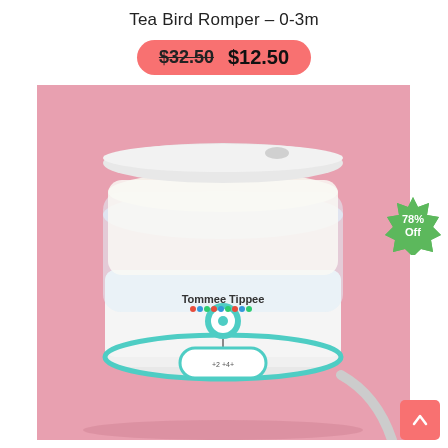Tea Bird Romper – 0-3m
$32.50  $12.50
[Figure (photo): Tommee Tippee baby bottle sterilizer/warmer device on a pink background, white plastic body with teal accents and a clear container on top]
[Figure (infographic): Green badge/starburst showing '78% Off']